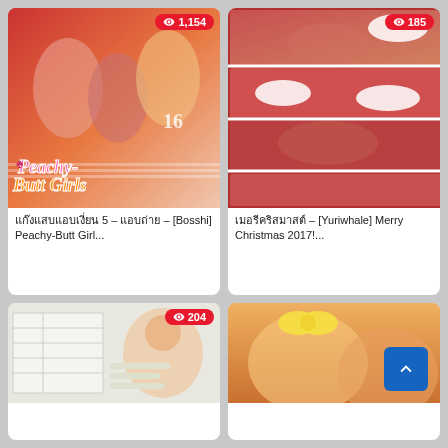[Figure (illustration): Manga cover art - Peachy-Butt Girls showing anime characters with view count badge 1,154]
แก๊งแสบแอบเงี่ยน 5 – แอบถ่าย – [Bosshi] Peachy-Butt Girl...
[Figure (illustration): Manga page panels - Merry Christmas 2017 with view count badge 185]
เมอรีคริสมาสต์ – [Yuriwhale] Merry Christmas 2017!...
[Figure (illustration): Manga thumbnail bottom left with view count badge 204]
[Figure (illustration): Manga thumbnail bottom right partial view]